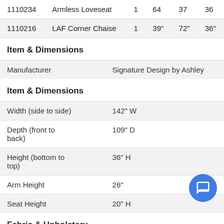| Item# | Name | Qty | W | D | H |
| --- | --- | --- | --- | --- | --- |
| 1110234 | Armless Loveseat | 1 | 64 | 37 | 36 |
| 1110216 | LAF Corner Chaise | 1 | 39" | 72" | 36" |
Item & Dimensions
| Property | Value |
| --- | --- |
| Manufacturer | Signature Design by Ashley |
Item & Dimensions
| Property | Value |
| --- | --- |
| Width (side to side) | 142" W |
| Depth (front to back) | 109" D |
| Height (bottom to top) | 36" H |
| Arm Height | 26" |
| Seat Height | 20" H |
Fabric & Upholstery
| Property | Value |
| --- | --- |
| Fabric Content | Leather Match upholstery features top-grain leather in the seating areas with skillfully matched vinyl |